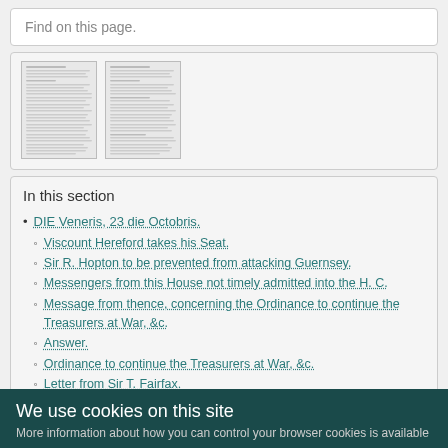Find on this page.
[Figure (screenshot): Two thumbnail images of document pages with small dense text]
In this section
DIE Veneris, 23 die Octobris.
Viscount Hereford takes his Seat.
Sir R. Hopton to be prevented from attacking Guernsey.
Messengers from this House not timely admitted into the H. C.
Message from thence, concerning the Ordinance to continue the Treasurers at War, &c.
Answer.
Ordinance to continue the Treasurers at War, &c.
Letter from Sir T. Fairfax.
Ordinance for 10,000 l. to Soldiers Wives, &c.
Ordinance for 400 l. to Irish Protestants.
Ordinance concerning the Peers; &c.
We use cookies on this site
More information about how you can control your browser cookies is available